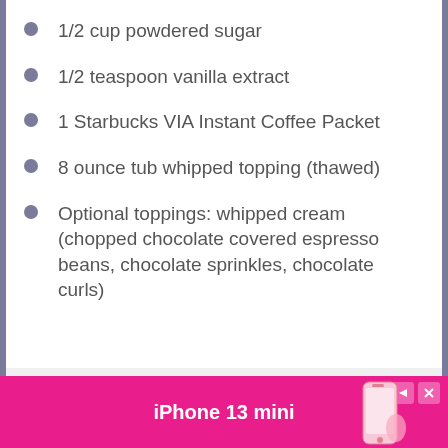1/2 cup powdered sugar
1/2 teaspoon vanilla extract
1 Starbucks VIA Instant Coffee Packet
8 ounce tub whipped topping (thawed)
Optional toppings: whipped cream (chopped chocolate covered espresso beans, chocolate sprinkles, chocolate curls)
[Figure (photo): Advertisement banner for iPhone 13 mini on pink background with phone image]